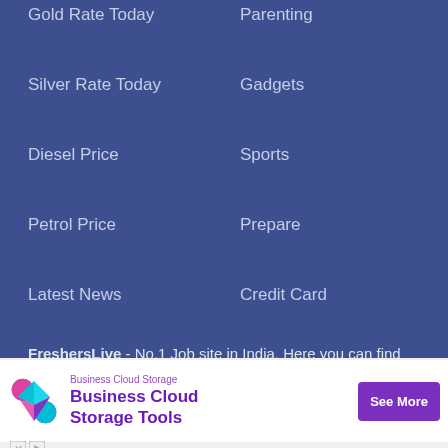Gold Rate Today
Parenting
Silver Rate Today
Gadgets
Diesel Price
Sports
Petrol Price
Prepare
Latest News
Credit Card
FreshersLive - No.1 Job site in India. Here you can find latest 2022 government as well as private job recruitment notifications for different posts vacancies in India. Get top company jobs for both fresher and experienced. Job Seekers can get useful interview tips, resume services & interview
[Figure (infographic): Advertisement banner for Business Cloud Storage Tools with a diamond-shaped logo, small label 'Business Cloud Storage', main heading 'Business Cloud Storage Tools' in purple, and a 'See More' button in purple.]